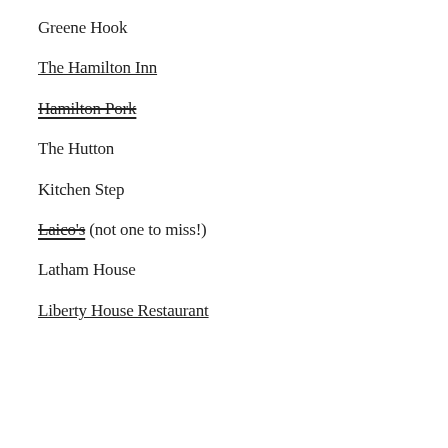Greene Hook
The Hamilton Inn
Hamilton Pork
The Hutton
Kitchen Step
Laico's (not one to miss!)
Latham House
Liberty House Restaurant